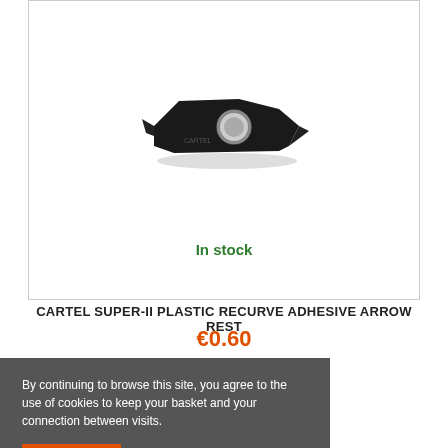[Figure (photo): Black plastic recurve adhesive arrow rest part (Cartel brand), shown on white background. Small black angular shaped piece with a circular hole.]
In stock
CARTEL SUPER-II PLASTIC RECURVE ADHESIVE ARROW REST
€0.60
By continuing to browse this site, you agree to the use of cookies to keep your basket and your connection between visits.
ACCEPT